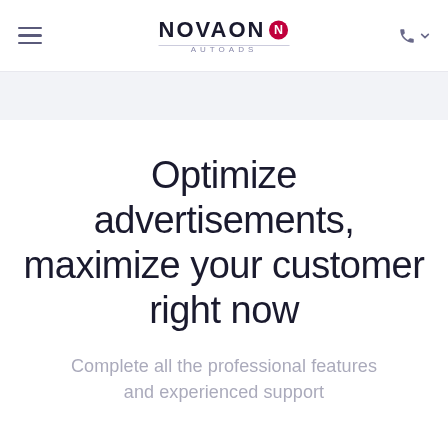NOVAON AUTOADS
Optimize advertisements, maximize your customer right now
Complete all the professional features and experienced support